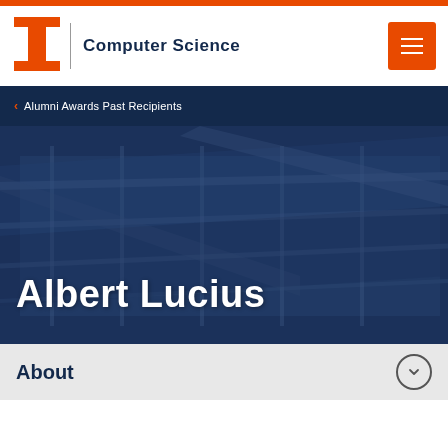Computer Science
Alumni Awards Past Recipients
Albert Lucius
About